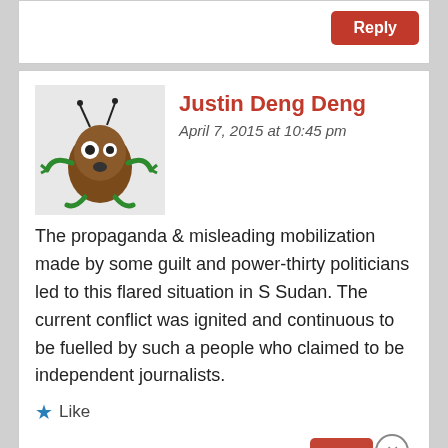[Figure (screenshot): Reply button (red) in a comment box area at top]
Justin Deng Deng
April 7, 2015 at 10:45 pm
The propaganda & misleading mobilization made by some guilt and power-thirty politicians led to this flared situation in S Sudan. The current conflict was ignited and continuous to be fuelled by such a people who claimed to be independent journalists.
Like
Advertisements
[Figure (screenshot): DuckDuckGo advertisement banner: Search, browse, and email with more privacy. All in One Free App]